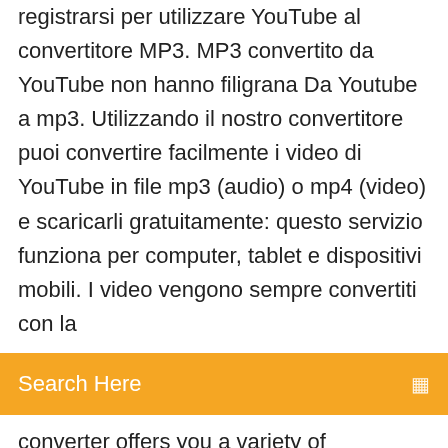registrarsi per utilizzare YouTube al convertitore MP3. MP3 convertito da YouTube non hanno filigrana Da Youtube a mp3. Utilizzando il nostro convertitore puoi convertire facilmente i video di YouTube in file mp3 (audio) o mp4 (video) e scaricarli gratuitamente: questo servizio funziona per computer, tablet e dispositivi mobili. I video vengono sempre convertiti con la
Search Here
converter offers you a variety of conversion options. You can convert videos to conventional formats such as MP3 or MP4, but formats such as FLV, AVI or WAV are also available. Stai cercando un convertitore da YouTube a MP3 gratuito? Convert2MP3 è esattamente quello che stai cercando. Converti il tuo video preferito in MP3 o MP4 con un solo clic. Copia il link del video, incollalo con noi e il video di YouTube verrà convertito in pochi secondi. VidPaw YouTube to MP3 is an online MP3 converter, which makes it easily-accessible on any browsers on Windows/Mac, Android, iPhone/iPad. MP3 in All Quality You can